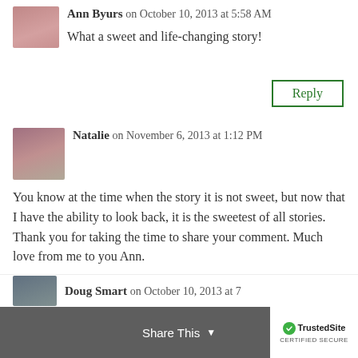Ann Byurs on October 10, 2013 at 5:58 AM
What a sweet and life-changing story!
Reply
Natalie on November 6, 2013 at 1:12 PM
You know at the time when the story it is not sweet, but now that I have the ability to look back, it is the sweetest of all stories. Thank you for taking the time to share your comment. Much love from me to you Ann.
Reply
Doug Smart on October 10, 2013 at 7...
Share This
[Figure (logo): TrustedSite Certified Secure badge]